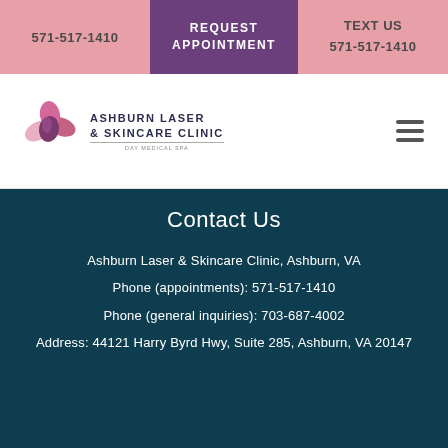571-517-1410 | REQUEST APPOINTMENT | TEXT US 571-517-1410
[Figure (logo): Ashburn Laser & Skincare Clinic logo with stylized flower/lotus in pink and purple, text reads ASHBURN LASER & SKINCARE CLINIC - DAY MEDICAL SPA]
Contact Us
Ashburn Laser & Skincare Clinic, Ashburn, VA
Phone (appointments): 571-517-1410
Phone (general inquiries): 703-687-4002
Address: 44121 Harry Byrd Hwy, Suite 285, Ashburn, VA 20147
5 / 5  ★★★★★ (10 reviews)